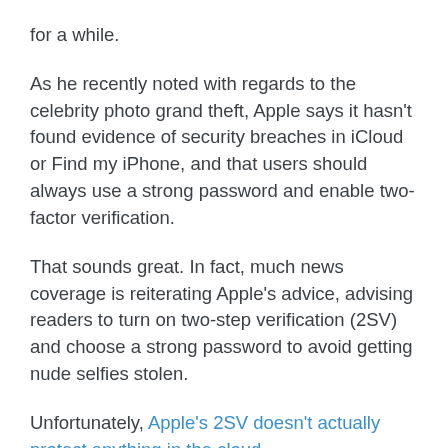for a while.
As he recently noted with regards to the celebrity photo grand theft, Apple says it hasn't found evidence of security breaches in iCloud or Find my iPhone, and that users should always use a strong password and enable two-factor verification.
That sounds great. In fact, much news coverage is reiterating Apple's advice, advising readers to turn on two-step verification (2SV) and choose a strong password to avoid getting nude selfies stolen.
Unfortunately, Apple's 2SV doesn't actually protect anything in the cloud.
Apple protects only these three specific applications of